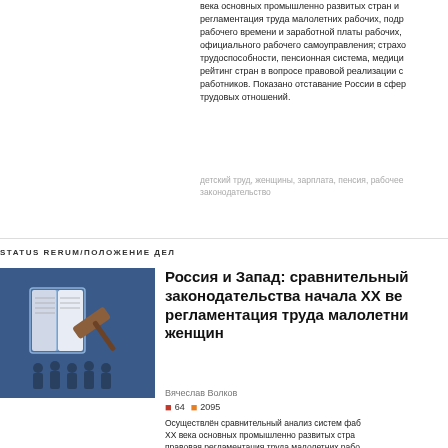века основных промышленно развитых стран и регламентация труда малолетних рабочих, подр рабочего времени и заработной платы рабочих, официального рабочего самоуправления; страхо трудоспособности, пенсионная система, медици рейтинг стран в вопросе правовой реализации с работников. Показано отставание России в сфер трудовых отношений.
детский труд, женщины, зарплата, пенсия, рабочее законодательство
STATUS RERUM/ПОЛОЖЕНИЕ ДЕЛ
[Figure (illustration): Illustration showing a book, a legal hammer/gavel, and silhouettes of people on a blue background]
Россия и Запад: сравнительный законодательства начала ХХ ве регламентация труда малолетни женщин
Вячеслав Волков
64  2095
Осуществлён сравнительный анализ систем фаб ХХ века основных промышленно развитых стра правовая регламентация труда малолетних рабо регулирование рабочего времени и зарплаты ра признания официального рабочего самоуправлен